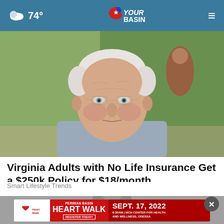74° YourBasin
[Figure (photo): Close-up portrait of an elderly man with white hair wearing glasses and a light gray blazer, seated indoors]
Virginia Adults with No Life Insurance Get a $250k Policy for $18/month
Smart Lifestyle Trends
[Figure (photo): Partially visible second article photo with close button overlay]
[Figure (other): Advertisement banner: Permian Basin Heart Walk - REGISTER TODAY! - SEPT. 17, 2022 - 8:30AM | MCH CENTER FOR HEALTH AND WELLNESS, ODESSA]